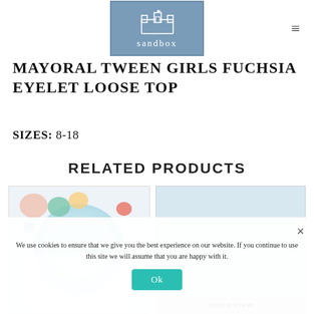sandbox (logo)
MAYORAL TWEEN GIRLS FUCHSIA EYELET LOOSE TOP
SIZES: 8-18
RELATED PRODUCTS
[Figure (photo): Left product card showing a colorful patterned top with abstract blobs in pink, teal, orange, red]
[Figure (photo): Right product card showing a light blue ruffled skirt or top]
We use cookies to ensure that we give you the best experience on our website. If you continue to use this site we will assume that you are happy with it.
Ok